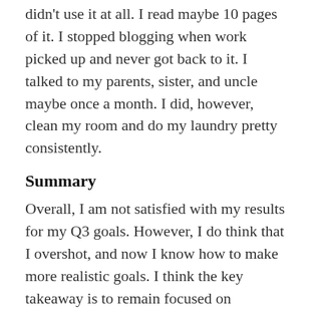the 2014 diet. I initially tried cannot this latter and didn't use it at all. I read maybe 10 pages of it. I stopped blogging when work picked up and never got back to it. I talked to my parents, sister, and uncle maybe once a month. I did, however, clean my room and do my laundry pretty consistently.
Summary
Overall, I am not satisfied with my results for my Q3 goals. However, I do think that I overshot, and now I know how to make more realistic goals. I think the key takeaway is to remain focused on improving one aspect of my life at once. As it becomes integrated into my daily routines, it becomes easier to maintain and I can exert less willpower to convince myself to take action. Even though 3/5 of my scores were really terrible, I believe they can be improved by being